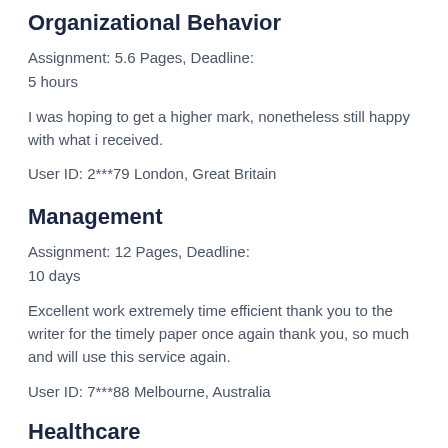Organizational Behavior
Assignment: 5.6 Pages, Deadline:
5 hours
I was hoping to get a higher mark, nonetheless still happy with what i received.
User ID: 2***79 London, Great Britain
Management
Assignment: 12 Pages, Deadline:
10 days
Excellent work extremely time efficient thank you to the writer for the timely paper once again thank you, so much and will use this service again.
User ID: 7***88 Melbourne, Australia
Healthcare